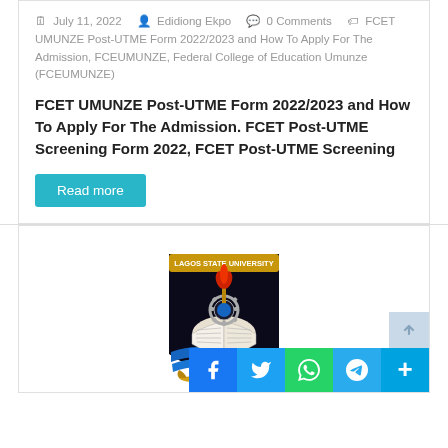July 11, 2022  Edidiong Ekpo  0 Comments  FCET UMUNZE Post-UTME Form 2022/2023 and How To Apply For The Admission, FCEUMUNZE, Federal College of Education Umunze (FCEUMUNZE)
FCET UMUNZE Post-UTME Form 2022/2023 and How To Apply For The Admission. FCET Post-UTME Screening Form 2022, FCET Post-UTME Screening
Read more
[Figure (logo): Lagos State University (LASU) crest/logo showing a shield with an open book, a torch with red flame, a gear wheel, the text 'LAGOS STATE UNIVERSITY' at the top, and 'FOR TRUTH AND SE[RVICE]' on a scroll at the bottom. Black and blue shield colors.]